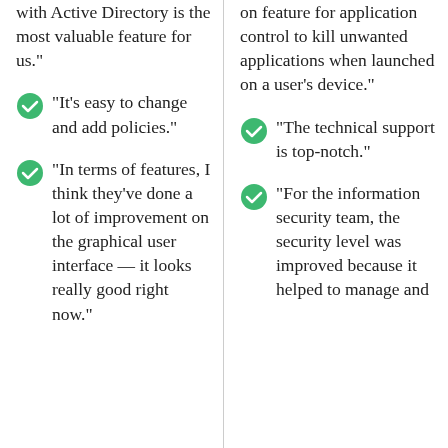with Active Directory is the most valuable feature for us."
"It's easy to change and add policies."
"In terms of features, I think they've done a lot of improvement on the graphical user interface — it looks really good right now."
on feature for application control to kill unwanted applications when launched on a user's device."
"The technical support is top-notch."
"For the information security team, the security level was improved because it helped to manage and